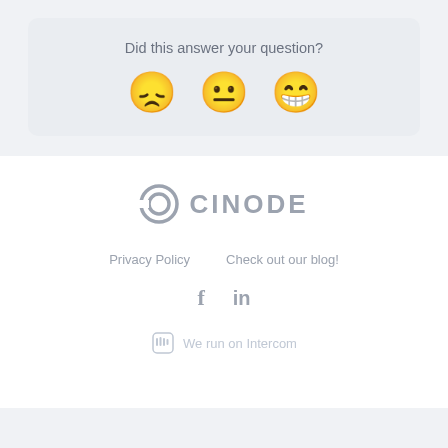Did this answer your question?
[Figure (illustration): Three emoji faces: disappointed/sad face, neutral face, and happy/grinning face for feedback rating]
[Figure (logo): Cinode logo - circular C icon with CINODE text in gray]
Privacy Policy    Check out our blog!
[Figure (illustration): Facebook and LinkedIn social media icons in gray]
We run on Intercom